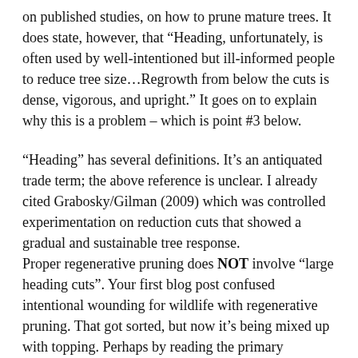on published studies, on how to prune mature trees. It does state, however, that “Heading, unfortunately, is often used by well-intentioned but ill-informed people to reduce tree size…Regrowth from below the cuts is dense, vigorous, and upright.” It goes on to explain why this is a problem – which is point #3 below.
“Heading” has several definitions. It’s an antiquated trade term; the above reference is unclear. I already cited Grabosky/Gilman (2009) which was controlled experimentation on reduction cuts that showed a gradual and sustainable tree response. Proper regenerative pruning does NOT involve “large heading cuts”. Your first blog post confused intentional wounding for wildlife with regenerative pruning. That got sorted, but now it’s being mixed up with topping. Perhaps by reading the primary literature, you can stay on the topic.